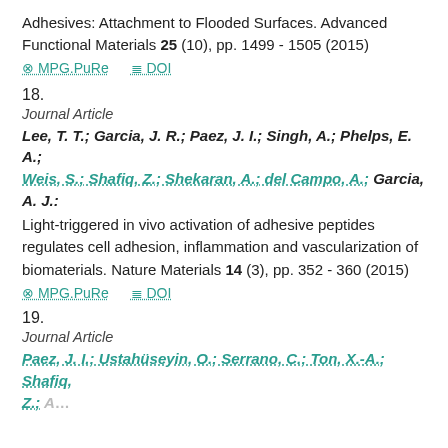Adhesives: Attachment to Flooded Surfaces. Advanced Functional Materials 25 (10), pp. 1499 - 1505 (2015)
⊙ MPG.PuRe   ≡ DOI
18.
Journal Article
Lee, T. T.; Garcia, J. R.; Paez, J. I.; Singh, A.; Phelps, E. A.; Weis, S.; Shafiq, Z.; Shekaran, A.; del Campo, A.; Garcia, A. J.: Light-triggered in vivo activation of adhesive peptides regulates cell adhesion, inflammation and vascularization of biomaterials. Nature Materials 14 (3), pp. 352 - 360 (2015)
⊙ MPG.PuRe   ≡ DOI
19.
Journal Article
Paez, J. I.; Ustahüseyin, O.; Serrano, C.; Ton, X.-A.; Shafiq, Z.; …